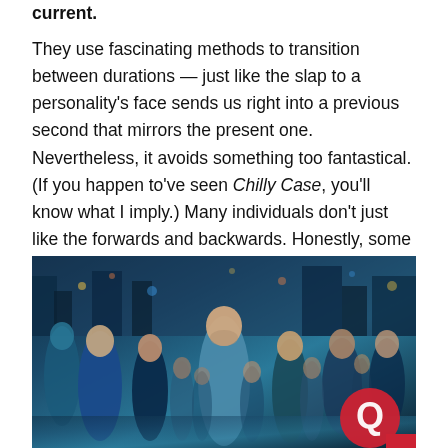current.
They use fascinating methods to transition between durations — just like the slap to a personality's face sends us right into a previous second that mirrors the present one. Nevertheless, it avoids something too fantastical. (If you happen to've seen Chilly Case, you'll know what I imply.) Many individuals don't just like the forwards and backwards. Honestly, some reveals and movies do flashbacks in a method that's complicated, distracting, or simply pointless. Now & Then will not be a kind of reveals.
[Figure (photo): A crowd of people in a dimly lit, blue-tinted scene. Several people are visible in the foreground looking upward or forward. A red circular logo with a white speech/chat icon is visible in the bottom right corner.]